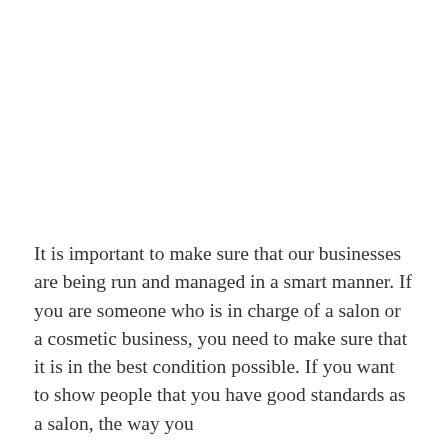It is important to make sure that our businesses are being run and managed in a smart manner. If you are someone who is in charge of a salon or a cosmetic business, you need to make sure that it is in the best condition possible. If you want to show people that you have good standards as a salon, the way you